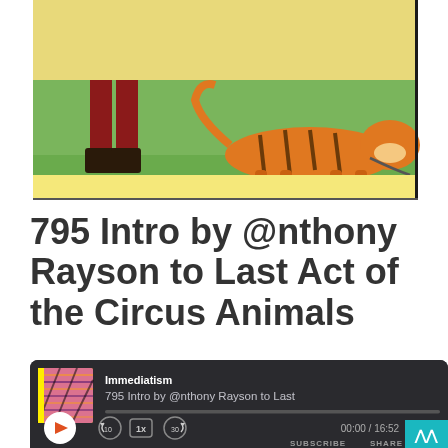[Figure (illustration): Partially visible circus poster illustration showing a tiger and a person's legs/boots on a green and yellow background]
795 Intro by @nthony Rayson to Last Act of the Circus Animals
[Figure (screenshot): Podcast audio player widget with dark background. Shows 'Immediatism' podcast name, episode '795 Intro by @nthony Rayson to Last', play button, progress bar, 10s rewind, 1x speed, 30s forward controls, time display 00:00 / 16:52, and SUBSCRIBE / SHARE buttons]